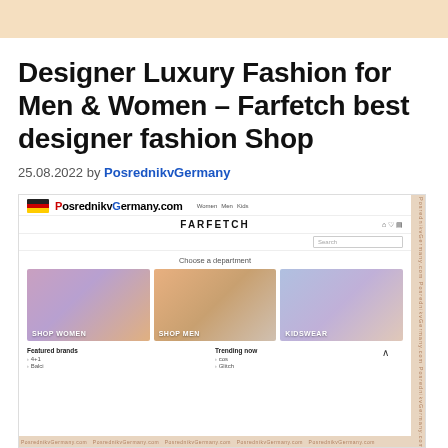Designer Luxury Fashion for Men & Women – Farfetch best designer fashion Shop
25.08.2022 by PosrednikvGermany
[Figure (screenshot): Screenshot of Farfetch website with PosrednikvGermany.com logo overlay, showing FARFETCH navigation, search bar, 'Choose a department' section with SHOP WOMEN, SHOP MEN, KIDSWEAR panels, and bottom links for Featured brands and Trending now]